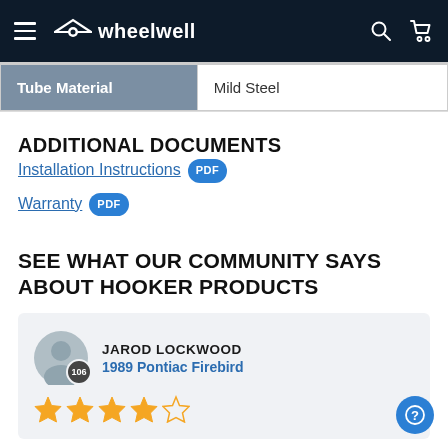wheelwell
| Tube Material |  |
| --- | --- |
| Tube Material | Mild Steel |
ADDITIONAL DOCUMENTS
Installation Instructions PDF
Warranty PDF
SEE WHAT OUR COMMUNITY SAYS ABOUT HOOKER PRODUCTS
JAROD LOCKWOOD
1989 Pontiac Firebird
★★★★☆